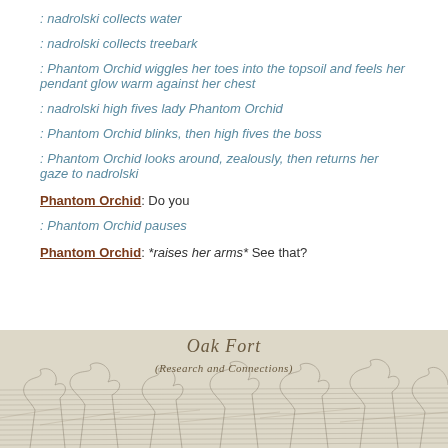: nadrolski collects water
: nadrolski collects treebark
: Phantom Orchid wiggles her toes into the topsoil and feels her pendant glow warm against her chest
: nadrolski high fives lady Phantom Orchid
: Phantom Orchid blinks, then high fives the boss
: Phantom Orchid looks around, zealously, then returns her gaze to nadrolski
Phantom Orchid: Do you
: Phantom Orchid pauses
Phantom Orchid: *raises her arms* See that?
[Figure (illustration): Sketch illustration of Oak Fort with text overlay reading 'Oak Fort' and subtitle '(Research and Connections)']